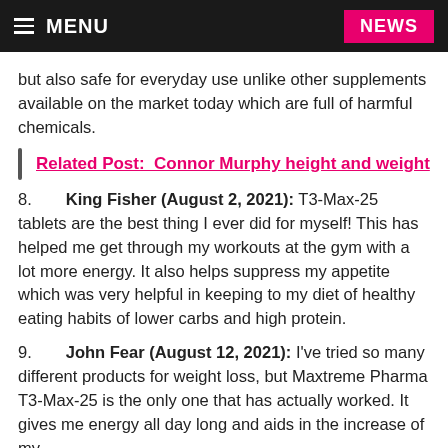MENU | NEWS
but also safe for everyday use unlike other supplements available on the market today which are full of harmful chemicals.
Related Post:  Connor Murphy height and weight
8.  King Fisher (August 2, 2021): T3-Max-25 tablets are the best thing I ever did for myself! This has helped me get through my workouts at the gym with a lot more energy. It also helps suppress my appetite which was very helpful in keeping to my diet of healthy eating habits of lower carbs and high protein.
9.  John Fear (August 12, 2021): I've tried so many different products for weight loss, but Maxtreme Pharma T3-Max-25 is the only one that has actually worked. It gives me energy all day long and aids in the increase of my